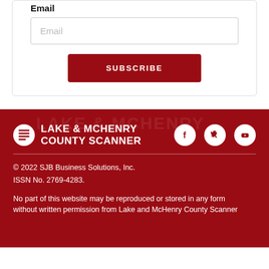Email
[Figure (screenshot): Email input field with placeholder text 'Email']
[Figure (screenshot): Red SUBSCRIBE button]
[Figure (logo): Lake & McHenry County Scanner logo with newspaper icon]
[Figure (screenshot): Social media icons: Facebook, Twitter, YouTube on dark red footer]
© 2022 SJB Business Solutions, Inc.
ISSN No. 2769-4283.
No part of this website may be reproduced or stored in any form without written permission from Lake and McHenry County Scanner